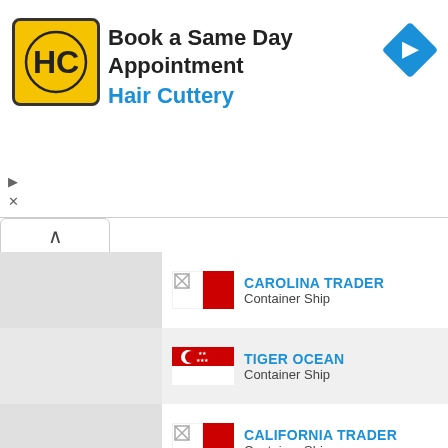[Figure (infographic): Hair Cuttery advertisement banner. Logo: yellow square with HC letters. Text: Book a Same Day Appointment, Hair Cuttery. Blue diamond arrow icon on right.]
CAROLINA TRADER - Container Ship (Malta flag)
TIGER OCEAN - Container Ship (Singapore flag)
CALIFORNIA TRADER - Container Ship (Malta flag)
BRIGHT - Container Ship (Portugal flag)
LOG-IN POLARIS - Container Ship (Brazil flag)
CNC LION - Container Ship (Malta flag, partial)